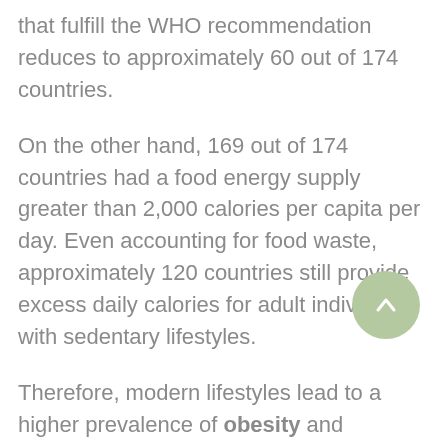that fulfill the WHO recommendation reduces to approximately 60 out of 174 countries.
On the other hand, 169 out of 174 countries had a food energy supply greater than 2,000 calories per capita per day. Even accounting for food waste, approximately 120 countries still provide excess daily calories for adult individuals with sedentary lifestyles.
Therefore, modern lifestyles lead to a higher prevalence of obesity and